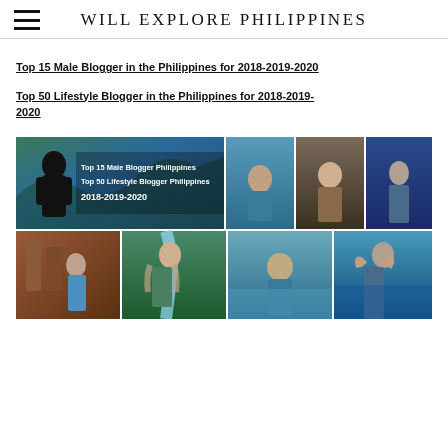WILL EXPLORE PHILIPPINES
Top 15 Male Blogger in the Philippines for 2018-2019-2020
Top 50 Lifestyle Blogger in the Philippines for 2018-2019-2020
[Figure (photo): Photo collage showing a male blogger with text overlay 'Top 15 Male Blogger Philippines, Top 50 Lifestyle Blogger Philippines 2018-2019-2020' along with multiple travel and lifestyle photos including beach, waterfall, pool, gym, and scenic outdoor locations in the Philippines.]